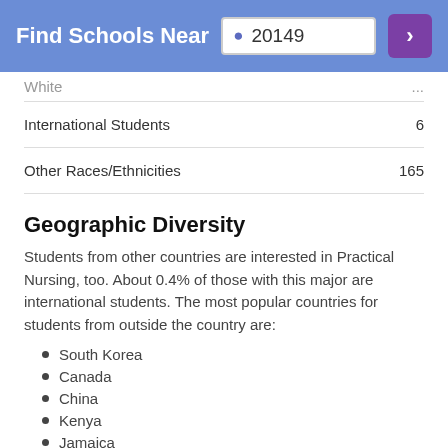Find Schools Near 20149
| Category | Value |
| --- | --- |
| White | ... |
| International Students | 6 |
| Other Races/Ethnicities | 165 |
Geographic Diversity
Students from other countries are interested in Practical Nursing, too. About 0.4% of those with this major are international students. The most popular countries for students from outside the country are:
South Korea
Canada
China
Kenya
Jamaica